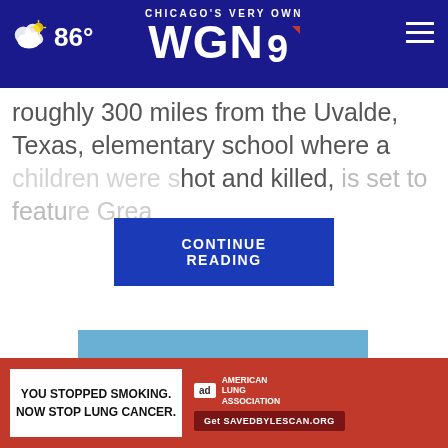CHICAGO'S VERY OWN WGN9
roughly 300 miles from the Uvalde, Texas, elementary school where a [CONTINUE READING] shot and killed, is set to featu[re] [Grea]
[Figure (screenshot): CONTINUE READING button overlay in blue]
[Figure (photo): Woman sitting on a wooden dock by a lake with trees in background]
Dr. Kellyann: "Weight Loss After 55
Comes Down to This Daily Routine"
[Figure (infographic): American Lung Association advertisement: YOU STOPPED SMOKING. NOW STOP LUNG CANCER. Get SAVEDBYLESCAN.ORG]